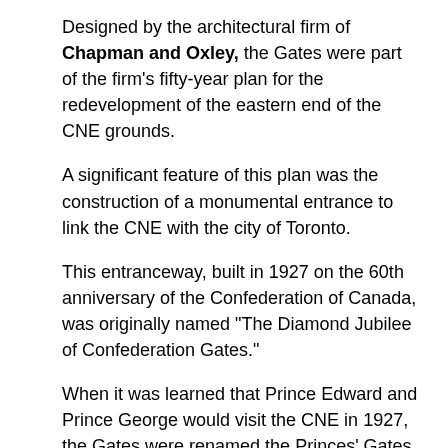Designed by the architectural firm of Chapman and Oxley, the Gates were part of the firm's fifty-year plan for the redevelopment of the eastern end of the CNE grounds.
A significant feature of this plan was the construction of a monumental entrance to link the CNE with the city of Toronto.
This entranceway, built in 1927 on the 60th anniversary of the Confederation of Canada, was originally named "The Diamond Jubilee of Confederation Gates."
When it was learned that Prince Edward and Prince George would visit the CNE in 1927, the Gates were renamed the Princes' Gates in honour of the two royal brothers.  Prince Edward, provided with gold scissors, cut the purple ribbon to officially open the Princes' Gates on August 30, 1927.